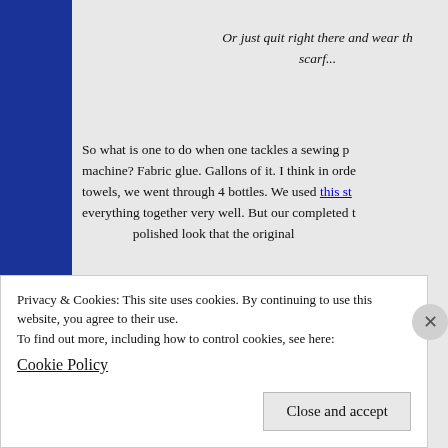Or just quit right there and wear the scarf...
So what is one to do when one tackles a sewing project without a machine? Fabric glue. Gallons of it. I think in order to make 4 towels, we went through 4 bottles. We used this st... everything together very well. But our completed to... polished look that the original
Privacy & Cookies: This site uses cookies. By continuing to use this website, you agree to their use.
To find out more, including how to control cookies, see here:
Cookie Policy
Close and accept